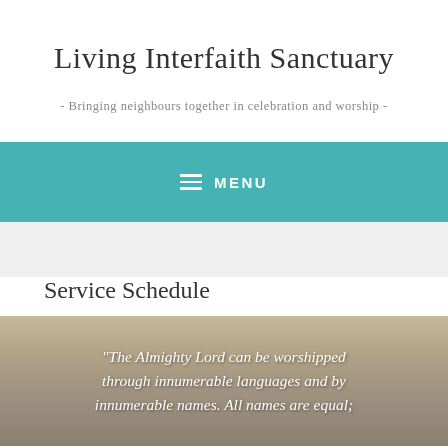Living Interfaith Sanctuary
- Bringing neighbours together in celebration and worship -
MENU
Service Schedule
[Figure (photo): Stone carved relief artwork overlaid with italic white text: "The Almighty Lord can be worshipped through innumerable languages and by innumerable names. All names are equal;"]